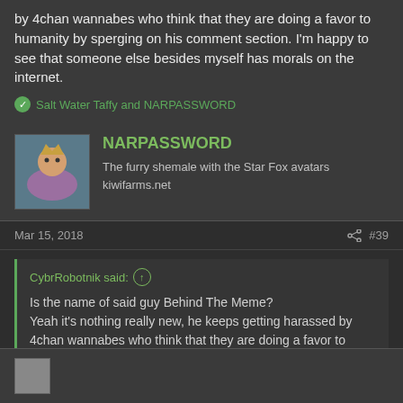by 4chan wannabes who think that they are doing a favor to humanity by sperging on his comment section. I'm happy to see that someone else besides myself has morals on the internet.
Salt Water Taffy and NARPASSWORD
NARPASSWORD
The furry shemale with the Star Fox avatars
kiwifarms.net
Mar 15, 2018
#39
CybrRobotnik said: ↑

Is the name of said guy Behind The Meme?
Yeah it's nothing really new, he keeps getting harassed by 4chan wannabes who think that they are doing a favor to humanity by sperging on his comment section. I'm happy to see that someone else besides myself has morals on the internet.
Yep, it's Behind the Meme.